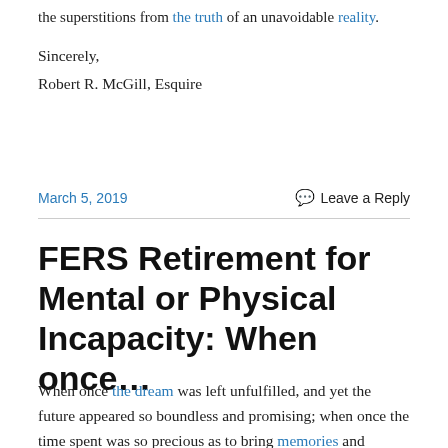the superstitions from the truth of an unavoidable reality.
Sincerely,
Robert R. McGill, Esquire
March 5, 2019
Leave a Reply
FERS Retirement for Mental or Physical Incapacity: When once…
When once the dream was left unfulfilled, and yet the future appeared so boundless and promising; when once the time spent was so precious as to bring memories and